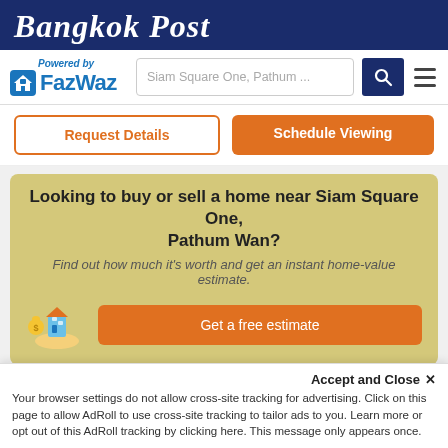Bangkok Post
[Figure (logo): FazWaz logo with 'Powered by' text above, house icon, and FazWaz wordmark in blue]
Siam Square One, Pathum ...
Request Details
Schedule Viewing
Looking to buy or sell a home near Siam Square One, Pathum Wan?
Find out how much it's worth and get an instant home-value estimate.
Get a free estimate
Klass Siam
฿32,000/mo
 Wang Mai
Accept and Close ×
Your browser settings do not allow cross-site tracking for advertising. Click on this page to allow AdRoll to use cross-site tracking to tailor ads to you. Learn more or opt out of this AdRoll tracking by clicking here. This message only appears once.